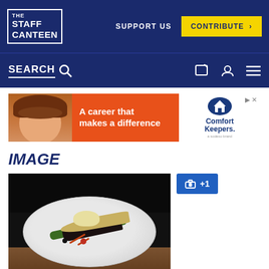THE STAFF CANTEEN | SUPPORT US | CONTRIBUTE >
SEARCH
[Figure (photo): Advertisement banner: A career that makes a difference - Comfort Keepers. Shows smiling woman with curly red hair on orange background.]
IMAGE
[Figure (photo): Food plating photo on a white plate on a dark wooden surface: grilled fish with cream sauce, green vegetables, and dark garnish on a white oval plate. Dark background at top.]
+1